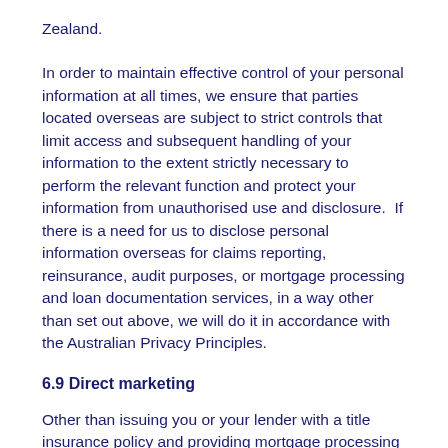Zealand.
In order to maintain effective control of your personal information at all times, we ensure that parties located overseas are subject to strict controls that limit access and subsequent handling of your information to the extent strictly necessary to perform the relevant function and protect your information from unauthorised use and disclosure.  If there is a need for us to disclose personal information overseas for claims reporting, reinsurance, audit purposes, or mortgage processing and loan documentation services, in a way other than set out above, we will do it in accordance with the Australian Privacy Principles.
6.9 Direct marketing
Other than issuing you or your lender with a title insurance policy and providing mortgage processing and loan servicing services, we may use your personal information to market to you new products or services